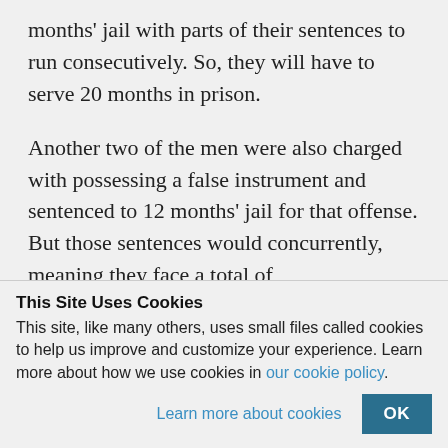months' jail with parts of their sentences to run consecutively. So, they will have to serve 20 months in prison.
Another two of the men were also charged with possessing a false instrument and sentenced to 12 months' jail for that offense. But those sentences would concurrently, meaning they face a total of 15 months' in prison.
This Site Uses Cookies
This site, like many others, uses small files called cookies to help us improve and customize your experience. Learn more about how we use cookies in our cookie policy.
Learn more about cookies    OK